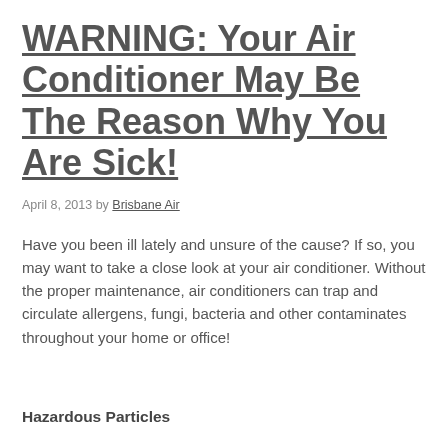WARNING: Your Air Conditioner May Be The Reason Why You Are Sick!
April 8, 2013 by Brisbane Air
Have you been ill lately and unsure of the cause? If so, you may want to take a close look at your air conditioner. Without the proper maintenance, air conditioners can trap and circulate allergens, fungi, bacteria and other contaminates throughout your home or office!
Hazardous Particles